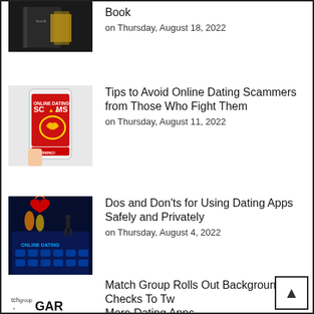[Figure (photo): Partially visible image of a dark book with gold accents]
Book
on Thursday, August 18, 2022
[Figure (photo): Hand holding a phone with Online Dating Scams warning text and a heart symbol]
Tips to Avoid Online Dating Scammers from Those Who Fight Them
on Thursday, August 11, 2022
[Figure (photo): Red heart above a glowing Online Dating keyboard with silhouette figures]
Dos and Don'ts for Using Dating Apps Safely and Privately
on Thursday, August 4, 2022
[Figure (logo): tch group + GAR logo]
Match Group Rolls Out Background Checks To Tw… More Dating Apps…